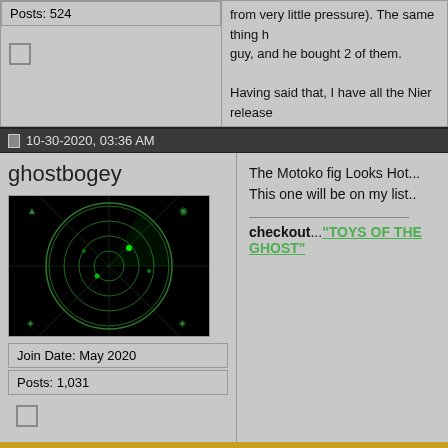Posts: 524
10-30-2020, 03:36 AM
ghostbogey
[Figure (illustration): Green radar screen with concentric circles and blips on black background]
Join Date: May 2020
Posts: 1,031
The Motoko fig Looks Hot...
This one will be on my list..
checkout..."TOYS OF THE GHOST"
POST REPLY
« Previous Thread | Next Thread »